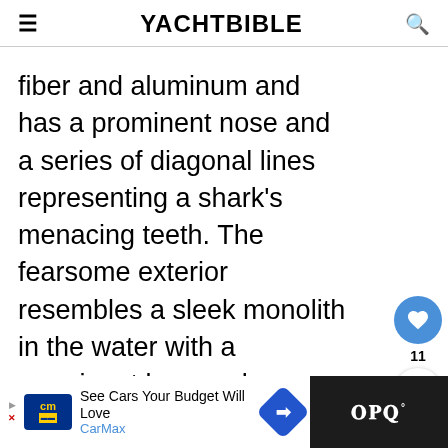YACHTBIBLE
fiber and aluminum and has a prominent nose and a series of diagonal lines representing a shark's menacing teeth. The fearsome exterior resembles a sleek monolith in the water with a prominent bow and a grey colorway. The orange themes from the interior of the concept design are featured on the yacht's exterior.
[Figure (infographic): Sidebar with heart/like button showing 11 likes and a share button]
[Figure (infographic): What's Next card showing a sailing yacht thumbnail with label SAILING YACHT A -...]
[Figure (infographic): Bottom advertisement bar: CarMax - See Cars Your Budget Will Love, with navigation icon and a dark right section with Waze logo]